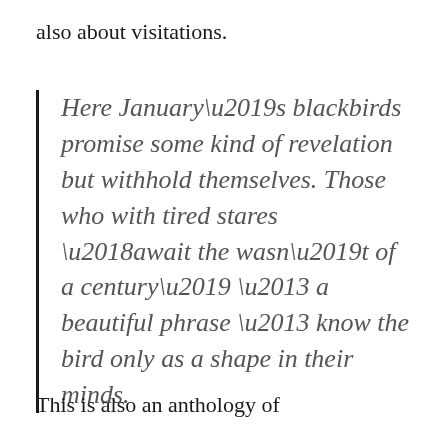also about visitations.
Here January’s blackbirds promise some kind of revelation but withhold themselves. Those who with tired stares ‘await the wasn’t of a century’ – a beautiful phrase – know the bird only as a shape in their minds.
This is also an anthology of